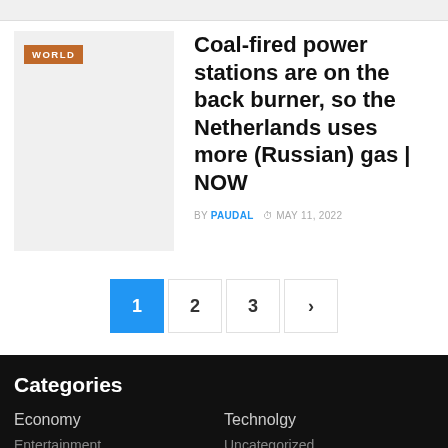[Figure (photo): Top partial thumbnail image, cropped at top of page]
Coal-fired power stations are on the back burner, so the Netherlands uses more (Russian) gas | NOW
BY PAUDAL  MAY 11, 2022
Pagination: 1 2 3 >
Categories
Economy
Technolgy
Entertainment
Uncategorized